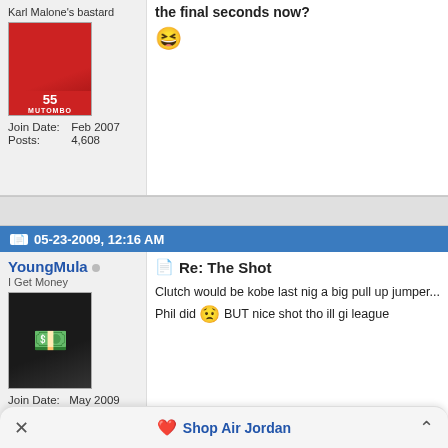Karl Malone's bastard
[Figure (photo): Basketball player in Rockets #55 Mutombo jersey]
Join Date: Feb 2007
Posts: 4,608
the final seconds now?
[Figure (other): Laughing emoji]
05-23-2009, 12:16 AM
YoungMula
I Get Money
[Figure (photo): Person holding money]
Join Date: May 2009
Location: Bank
Posts: 113
Re: The Shot
Clutch would be kobe last nig a big pull up jumper... Phil did BUT nice shot tho ill gi league
Shop Air Jordan